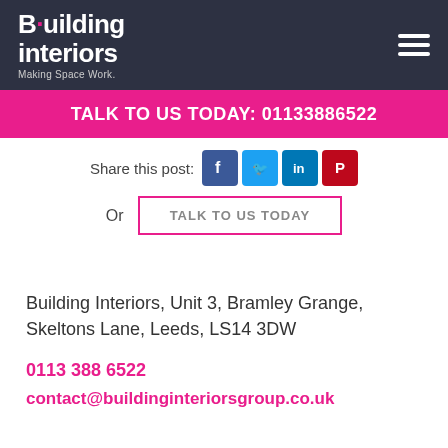[Figure (logo): Building Interiors logo with tagline 'Making Space Work.' on dark navy background, with hamburger menu icon top right]
TALK TO US TODAY: 01133886522
Share this post:
[Figure (infographic): Social media icons: Facebook, Twitter, LinkedIn, Pinterest]
Or   TALK TO US TODAY
Building Interiors, Unit 3, Bramley Grange, Skeltons Lane, Leeds, LS14 3DW
0113 388 6522
contact@buildinginteriorsgroup.co.uk